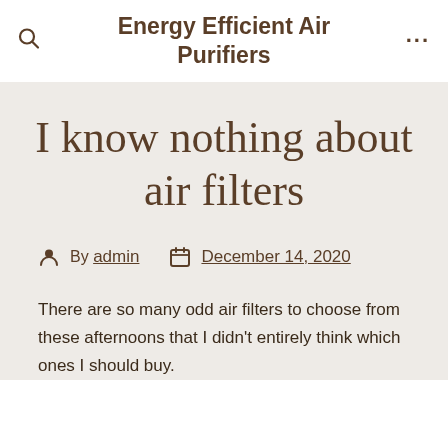Energy Efficient Air Purifiers
I know nothing about air filters
By admin  December 14, 2020
There are so many odd air filters to choose from these afternoons that I didn't entirely think which ones I should buy.